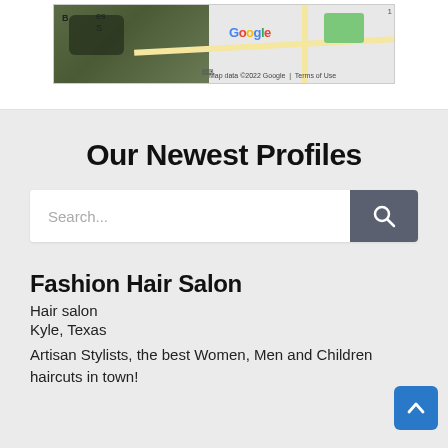[Figure (screenshot): Partial Google Map screenshot showing satellite/map hybrid view with Google logo and 'Map data ©2022 Google | Terms of Use' footer text]
Our Newest Profiles
Search...
Fashion Hair Salon
Hair salon
Kyle, Texas
Artisan Stylists, the best Women, Men and Children haircuts in town!